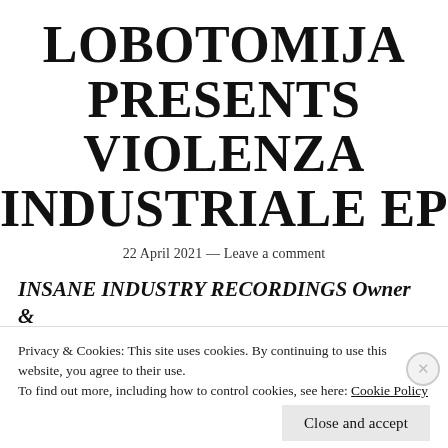LOBOTOMIJA PRESENTS VIOLENZA INDUSTRIALE EP
22 April 2021 — Leave a comment
INSANE INDUSTRY RECORDINGS Owner & Founder Lobotomija presents his first project on the label titled Violenza Industriale
Privacy & Cookies: This site uses cookies. By continuing to use this website, you agree to their use.
To find out more, including how to control cookies, see here: Cookie Policy